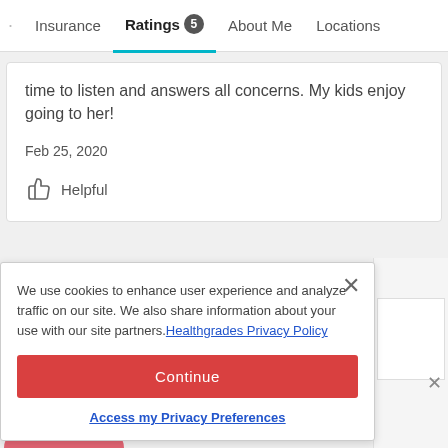Insurance  Ratings 5  About Me  Locations
time to listen and answers all concerns. My kids enjoy going to her!
Feb 25, 2020
Helpful
We use cookies to enhance user experience and analyze traffic on our site. We also share information about your use with our site partners. Healthgrades Privacy Policy
Continue
Access my Privacy Preferences